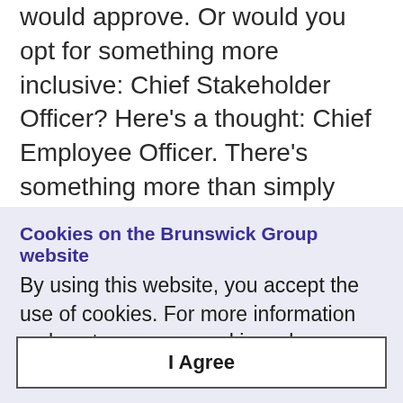would approve. Or would you opt for something more inclusive: Chief Stakeholder Officer? Here's a thought: Chief Employee Officer. There's something more than simply poetic about CEOs prioritizing their workforces: it's smart business. In this issue of the Brunswick Review, we explain why, and offer lessons and advice on how to
Cookies on the Brunswick Group website
By using this website, you accept the use of cookies. For more information on how to manage cookies, please read our cookie policy.
I Agree